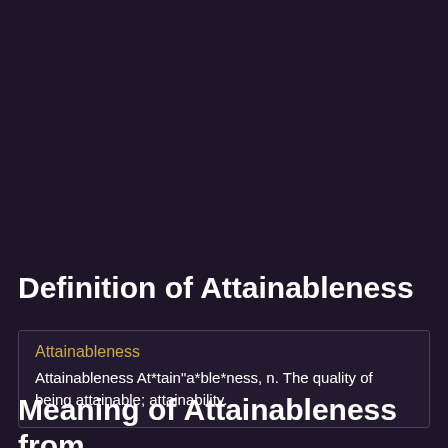Definition of Attainableness
Attainableness
Attainableness At*tain"a*ble*ness, n. The quality of being attainable; attainability.
Meaning of Attainableness from
wikipedia